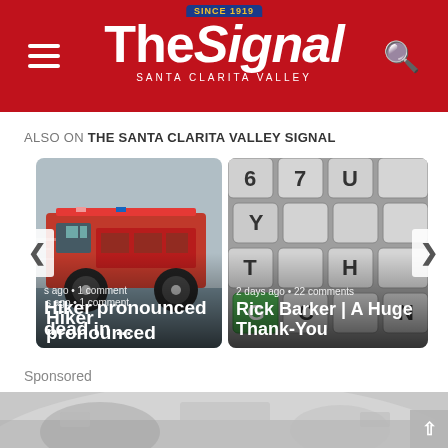The Signal — Santa Clarita Valley
ALSO ON THE SANTA CLARITA VALLEY SIGNAL
[Figure (photo): Fire truck speeding past, motion blur. Card with headline: 'Hiker pronounced dead in ...' and meta text 's ago • 1 comment']
[Figure (photo): Close-up of keyboard keys with green key. Card with headline: 'Rick Barker | A Huge Thank-You' and meta text '2 days ago • 22 comments']
Sponsored
[Figure (photo): Sponsored content image showing car interior dashboard view]